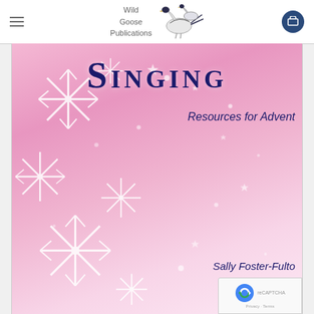Wild Goose Publications
[Figure (illustration): Book cover for 'Singing: Resources for Advent' by Sally Foster-Fulton. Pink/mauve background with white snowflake decorations and sparkle effects. Title 'SINGING' in large dark blue small-caps serif font at top center. Subtitle 'Resources for Advent' in dark blue italic below center-right. Author name 'Sally Foster-Fulton' in dark blue italic at bottom right.]